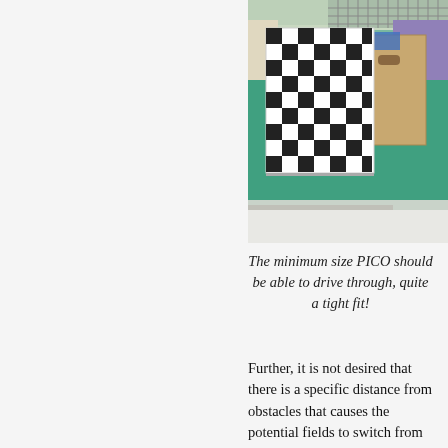[Figure (photo): A checkered black-and-white patterned cardboard obstacle/gate placed in a green-floored arena with purple walls and metal grid fencing in the background. A cardboard box with a handle cutout is visible next to the checkered panel.]
The minimum size PICO should be able to drive through, quite a tight fit!
Further, it is not desired that there is a specific distance from obstacles that causes the potential fields to switch from providing no force to full force. Therefore, the slope of the field should